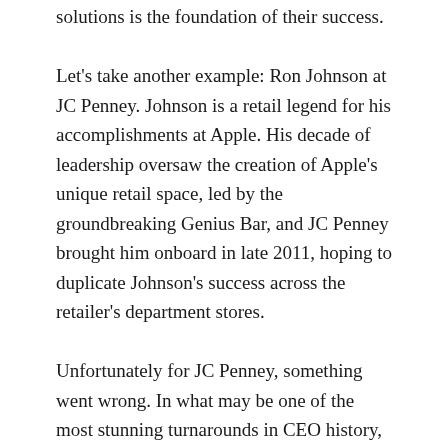solutions is the foundation of their success.
Let's take another example: Ron Johnson at JC Penney. Johnson is a retail legend for his accomplishments at Apple. His decade of leadership oversaw the creation of Apple's unique retail space, led by the groundbreaking Genius Bar, and JC Penney brought him onboard in late 2011, hoping to duplicate Johnson's success across the retailer's department stores.
Unfortunately for JC Penney, something went wrong. In what may be one of the most stunning turnarounds in CEO history, Johnson was fired just one year into his tenure after botching financial progressions so badly that